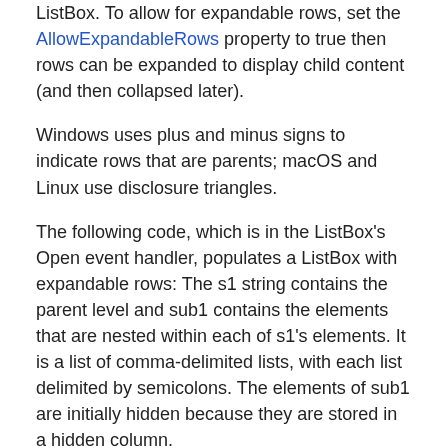ListBox. To allow for expandable rows, set the AllowExpandableRows property to true then rows can be expanded to display child content (and then collapsed later).
Windows uses plus and minus signs to indicate rows that are parents; macOS and Linux use disclosure triangles.
The following code, which is in the ListBox's Open event handler, populates a ListBox with expandable rows: The s1 string contains the parent level and sub1 contains the elements that are nested within each of s1's elements. It is a list of comma-delimited lists, with each list delimited by semicolons. The elements of sub1 are initially hidden because they are stored in a hidden column.
[Figure (screenshot): Code box showing Xojo/Basic code: Var u As Integer, Var s1, sub1 As String, Me.ColumnWidths = "150,0", s1 = "Michigan,Ohio,Minnesota", sub1 = "Grand Blanc,Bad Axe,Flint,Benton Harbor,Petoskey,Cleveland,Columbus,Minn..."]